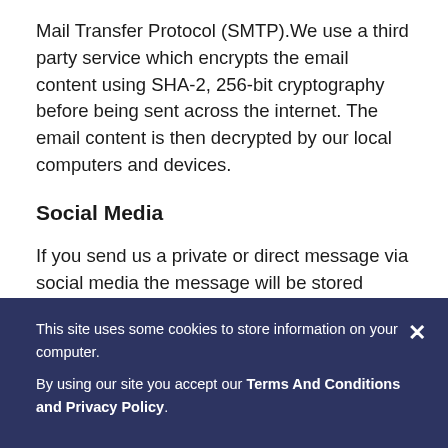Mail Transfer Protocol (SMTP).We use a third party service which encrypts the email content using SHA-2, 256-bit cryptography before being sent across the internet. The email content is then decrypted by our local computers and devices.
Social Media
If you send us a private or direct message via social media the message will be stored within our password protected account. It will not be shared
This site uses some cookies to store information on your computer.

By using our site you accept our Terms And Conditions and Privacy Policy.